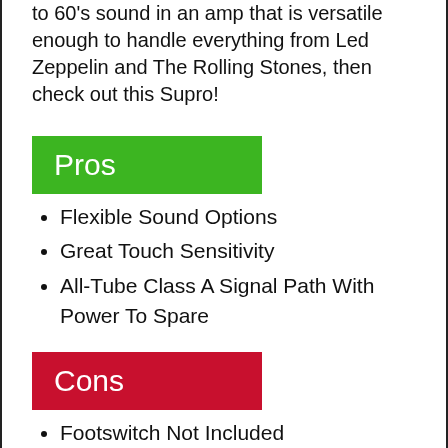to 60's sound in an amp that is versatile enough to handle everything from Led Zeppelin and The Rolling Stones, then check out this Supro!
Pros
Flexible Sound Options
Great Touch Sensitivity
All-Tube Class A Signal Path With Power To Spare
Cons
Footswitch Not Included
No Midrange Eq Control
Can Get A Little Noisy